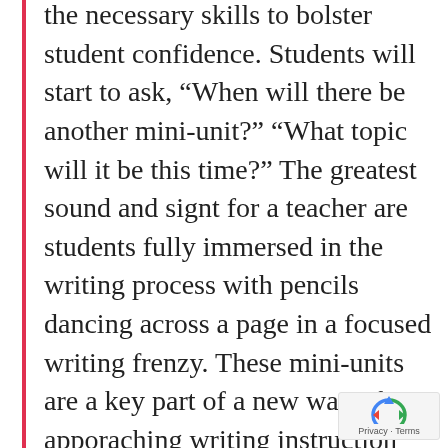the necessary skills to bolster student confidence. Students will start to ask, “When will there be another mini-unit?” “What topic will it be this time?” The greatest sound and signt for a teacher are students fully immersed in the writing process with pencils dancing across a page in a focused writing frenzy. These mini-units are a key part of a new way of apporaching writing instruction that will result in the sweet sound of your students success in your classroom and beyond.—Rachael Jaenichen, High School teacher, McCracken Co.